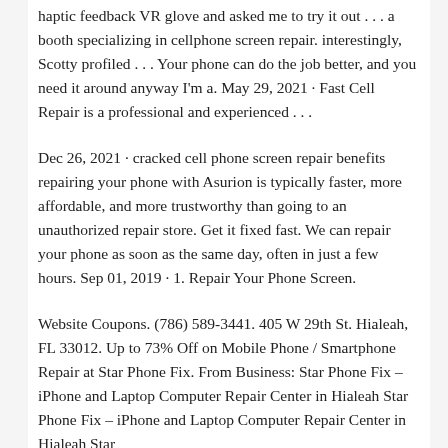haptic feedback VR glove and asked me to try it out . . . a booth specializing in cellphone screen repair. interestingly, Scotty profiled . . . Your phone can do the job better, and you need it around anyway I'm a. May 29, 2021 · Fast Cell Repair is a professional and experienced . . .
Dec 26, 2021 · cracked cell phone screen repair benefits repairing your phone with Asurion is typically faster, more affordable, and more trustworthy than going to an unauthorized repair store. Get it fixed fast. We can repair your phone as soon as the same day, often in just a few hours. Sep 01, 2019 · 1. Repair Your Phone Screen.
Website Coupons. (786) 589-3441. 405 W 29th St. Hialeah, FL 33012. Up to 73% Off on Mobile Phone / Smartphone Repair at Star Phone Fix. From Business: Star Phone Fix – iPhone and Laptop Computer Repair Center in Hialeah Star Phone Fix – iPhone and Laptop Computer Repair Center in Hialeah Star